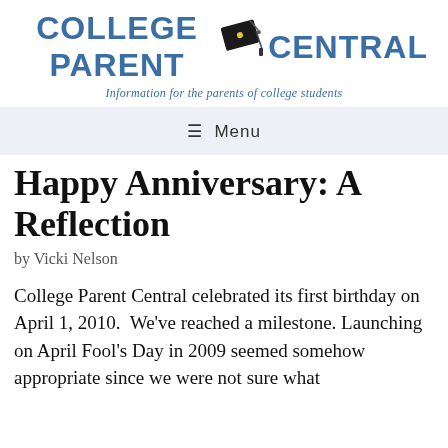[Figure (logo): College Parent Central logo with graduation cap icon and tagline 'Information for the parents of college students']
≡  Menu
Happy Anniversary: A Reflection
by Vicki Nelson
College Parent Central celebrated its first birthday on April 1, 2010.  We've reached a milestone. Launching on April Fool's Day in 2009 seemed somehow appropriate since we were not sure what